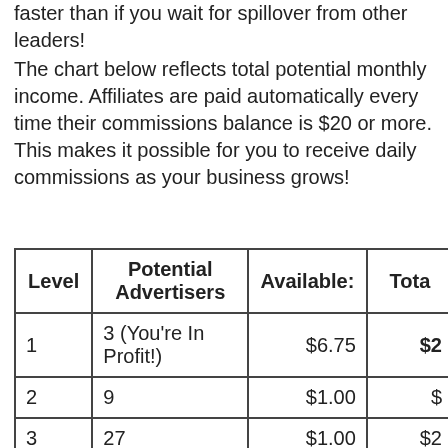faster than if you wait for spillover from other leaders!
The chart below reflects total potential monthly income. Affiliates are paid automatically every time their commissions balance is $20 or more. This makes it possible for you to receive daily commissions as your business grows!
| Level | Potential Advertisers | Available: | Total |
| --- | --- | --- | --- |
| 1 | 3 (You're In Profit!) | $6.75 | $2... |
| 2 | 9 | $1.00 | $... |
| 3 | 27 | $1.00 | $2... |
| 4 | 81 | $1.00 | $8... |
| 5 | 243 | $1.00 | $24... |
| 6 | 729 | $1.00 | $72... |